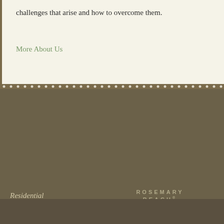challenges that arise and how to overcome them.
More About Us
Residential
Remodels
Portfolio
Recognition
About Us
Contact Us
Home
[Figure (logo): ROSEMARY BEACH Approved Builder logo]
[Figure (logo): WRCS Corporation logo]
Design by ClicksCrazy.com